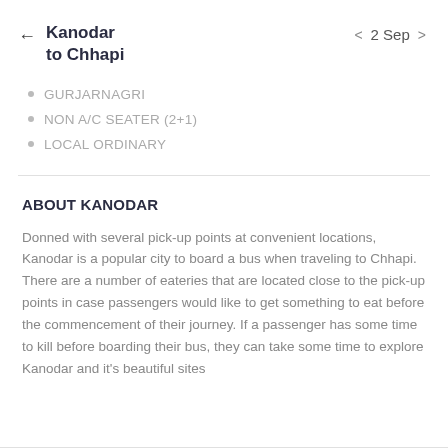Kanodar to Chhapi  < 2 Sep >
GURJARNAGRI
NON A/C Seater (2+1)
LOCAL ORDINARY
ABOUT KANODAR
Donned with several pick-up points at convenient locations, Kanodar is a popular city to board a bus when traveling to Chhapi. There are a number of eateries that are located close to the pick-up points in case passengers would like to get something to eat before the commencement of their journey. If a passenger has some time to kill before boarding their bus, they can take some time to explore Kanodar and it's beautiful sites